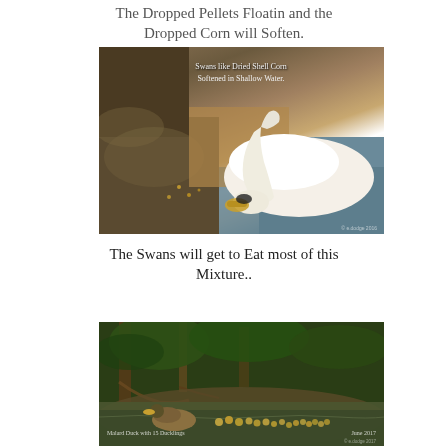The Dropped Pellets Floatin and the Dropped Corn will Soften.
[Figure (photo): A white swan bending its neck down toward muddy ground near water, with text overlay reading 'Swans like Dried Shell Corn Softened in Shallow Water.']
The Swans will get to Eat most of this Mixture..
[Figure (photo): A Mallard Duck with 15 ducklings swimming in a green, wooded stream area. Caption reads 'Malard Duck with 15 Ducklings' and 'June 2017'.]